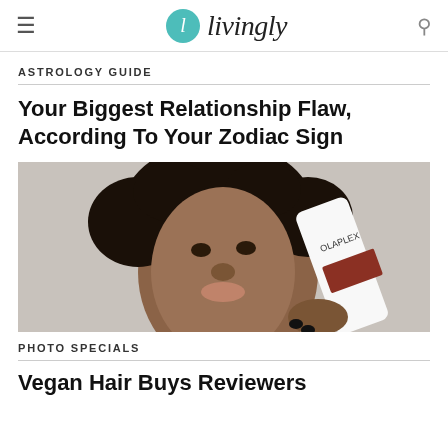livingly
ASTROLOGY GUIDE
Your Biggest Relationship Flaw, According To Your Zodiac Sign
[Figure (photo): A woman with curly hair holding a white Olaplex hair product bottle, looking upward against a light grey background.]
PHOTO SPECIALS
Vegan Hair Buys Reviewers